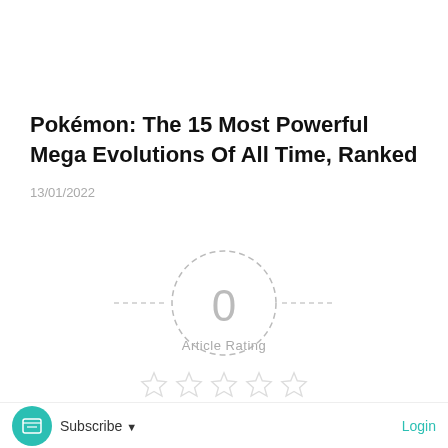Pokémon: The 15 Most Powerful Mega Evolutions Of All Time, Ranked
13/01/2022
[Figure (infographic): Article rating widget showing a dashed circle with '0' inside, horizontal dashed lines extending left and right, 'Article Rating' label below, and five empty star icons]
Subscribe ▼   Login